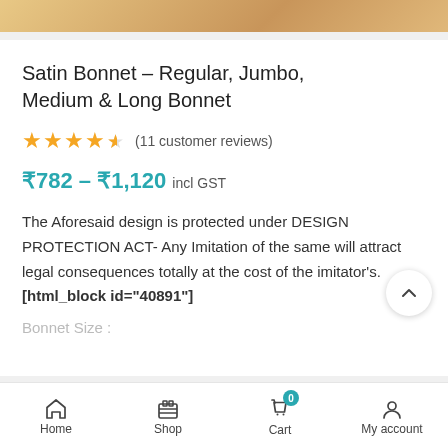[Figure (photo): Partial product image strip at top showing a warm-toned fabric/bonnet item]
Satin Bonnet – Regular, Jumbo, Medium & Long Bonnet
★★★★½ (11 customer reviews)
₹782 – ₹1,120 incl GST
The Aforesaid design is protected under DESIGN PROTECTION ACT- Any Imitation of the same will attract legal consequences totally at the cost of the imitator's.
[html_block id="40891"]
Bonnet Size :
Home  Shop  Cart (0)  My account